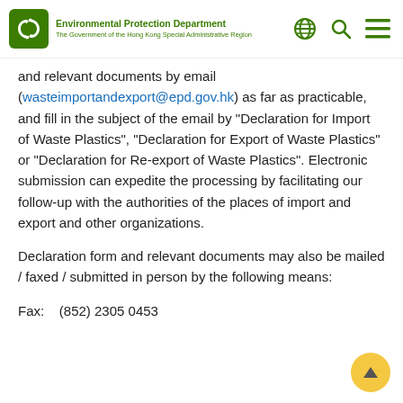Environmental Protection Department
The Government of the Hong Kong Special Administrative Region
and relevant documents by email (wasteimportandexport@epd.gov.hk) as far as practicable, and fill in the subject of the email by "Declaration for Import of Waste Plastics", "Declaration for Export of Waste Plastics" or "Declaration for Re-export of Waste Plastics". Electronic submission can expedite the processing by facilitating our follow-up with the authorities of the places of import and export and other organizations.
Declaration form and relevant documents may also be mailed / faxed / submitted in person by the following means:
Fax:    (852) 2305 0453